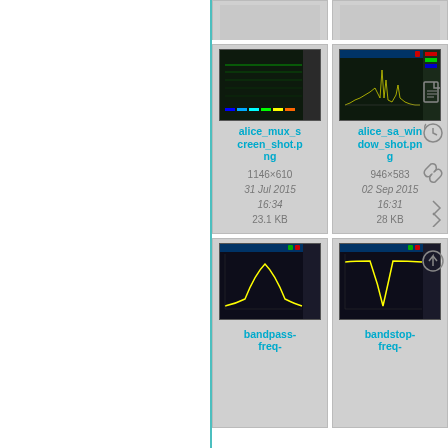[Figure (screenshot): Partial/cropped file card row at top — two file thumbnails partially visible]
[Figure (screenshot): File card for alice_mux_screen_shot.png — dark spectrum analyzer screenshot thumbnail, 1146x610, 31 Jul 2015 16:34, 23.1 KB]
[Figure (screenshot): File card for alice_sa_window_shot.png — dark spectrum analyzer screenshot thumbnail, 946x583, 02 Sep 2015 16:31, 28 KB]
[Figure (screenshot): File card for bandpass-freq- (truncated) — dark filter response screenshot thumbnail]
[Figure (screenshot): File card for bandstop-freq- (truncated) — dark filter response screenshot thumbnail]